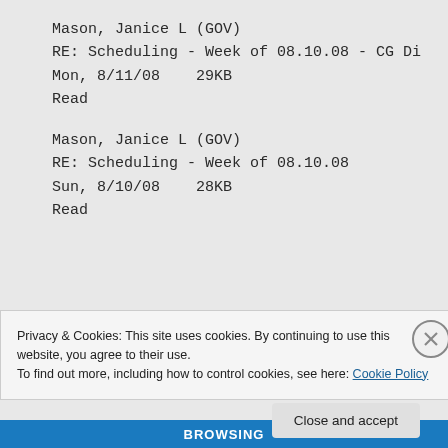Mason, Janice L (GOV)
RE: Scheduling - Week of 08.10.08 - CG Di
Mon, 8/11/08    29KB
Read
Mason, Janice L (GOV)
RE: Scheduling - Week of 08.10.08
Sun, 8/10/08    28KB
Read
Privacy & Cookies: This site uses cookies. By continuing to use this website, you agree to their use.
To find out more, including how to control cookies, see here: Cookie Policy
Close and accept